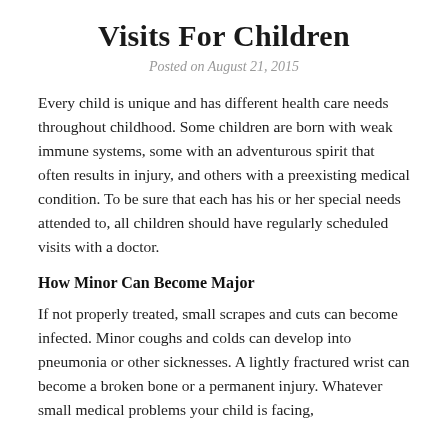Visits For Children
Posted on August 21, 2015
Every child is unique and has different health care needs throughout childhood. Some children are born with weak immune systems, some with an adventurous spirit that often results in injury, and others with a preexisting medical condition. To be sure that each has his or her special needs attended to, all children should have regularly scheduled visits with a doctor.
How Minor Can Become Major
If not properly treated, small scrapes and cuts can become infected. Minor coughs and colds can develop into pneumonia or other sicknesses. A lightly fractured wrist can become a broken bone or a permanent injury. Whatever small medical problems your child is facing,